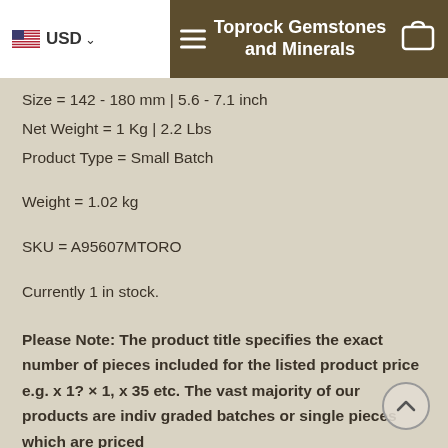USD | Toprock Gemstones and Minerals
Size = 142 - 180 mm | 5.6 - 7.1 inch
Net Weight = 1 Kg | 2.2 Lbs
Product Type = Small Batch
Weight = 1.02 kg
SKU = A95607MTORO
Currently 1 in stock.
Please Note: The product title specifies the exact number of pieces included for the listed product price e.g. x 1? × 1, x 35 etc. The vast majority of our products are indiv graded batches or single pieces which are priced